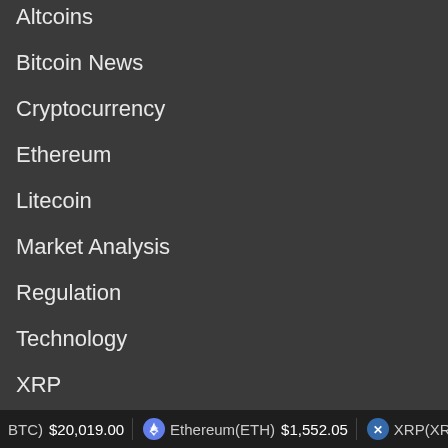Altcoins
Bitcoin News
Cryptocurrency
Ethereum
Litecoin
Market Analysis
Regulation
Technology
XRP
Useful Links
Contact us
BTC) $20,019.00   Ethereum(ETH) $1,552.05   XRP(XRP) $0.3...